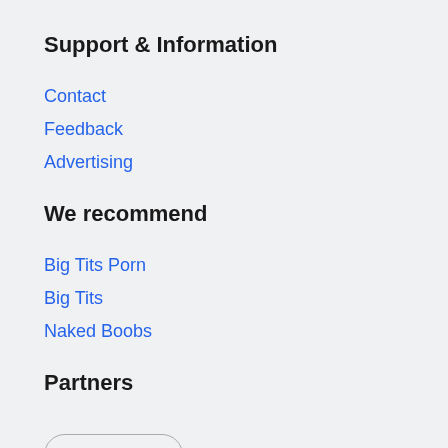Support & Information
Contact
Feedback
Advertising
We recommend
Big Tits Porn
Big Tits
Naked Boobs
Partners
View All →